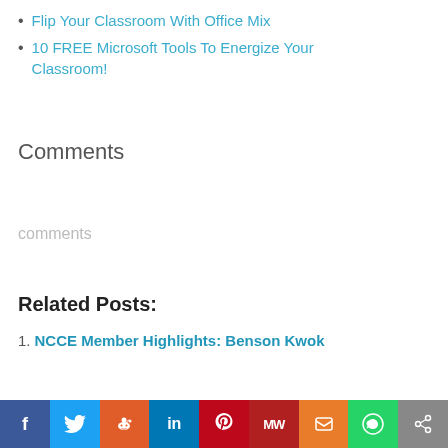Flip Your Classroom With Office Mix
10 FREE Microsoft Tools To Energize Your Classroom!
Comments
comments
Related Posts:
NCCE Member Highlights: Benson Kwok
[Figure (infographic): Social media share bar with icons for Facebook, Twitter, Reddit, LinkedIn, Pinterest, MeWe, Mix, WhatsApp, and a share button]